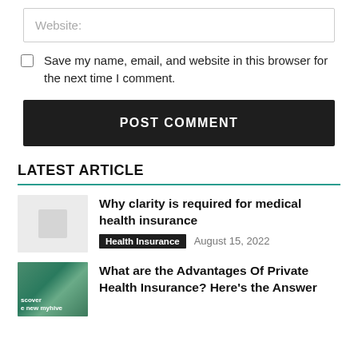Website:
Save my name, email, and website in this browser for the next time I comment.
POST COMMENT
LATEST ARTICLE
[Figure (photo): Placeholder thumbnail image for article about medical health insurance]
Why clarity is required for medical health insurance
Health Insurance  August 15, 2022
[Figure (photo): Thumbnail showing text: scover e new myhive — green colored image for article about private health insurance]
What are the Advantages Of Private Health Insurance? Here's the Answer